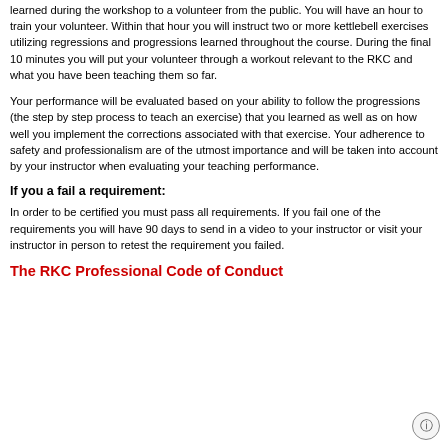learned during the workshop to a volunteer from the public. You will have an hour to train your volunteer. Within that hour you will instruct two or more kettlebell exercises utilizing regressions and progressions learned throughout the course. During the final 10 minutes you will put your volunteer through a workout relevant to the RKC and what you have been teaching them so far.
Your performance will be evaluated based on your ability to follow the progressions (the step by step process to teach an exercise) that you learned as well as on how well you implement the corrections associated with that exercise. Your adherence to safety and professionalism are of the utmost importance and will be taken into account by your instructor when evaluating your teaching performance.
If you a fail a requirement:
In order to be certified you must pass all requirements. If you fail one of the requirements you will have 90 days to send in a video to your instructor or visit your instructor in person to retest the requirement you failed.
The RKC Professional Code of Conduct